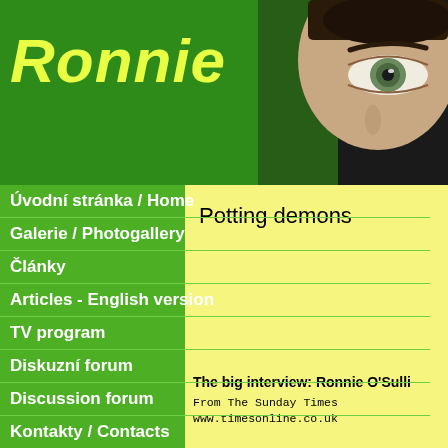Ronnie
[Figure (photo): Close-up photo of a man's eye against dark background]
Úvodní stránka / Home
Galerie / Photogallery
Články
Articles - English version
TV program
Diskuzní forum
Discussion forum
Kontakty / Contacts
Napište mi / Write to me
Odkazy / Links
[Figure (photo): Photo of Ronnie O'Sullivan at snooker table holding cue, celebrating]
Potting demons
The big interview: Ronnie O'Sulli
From The Sunday Times
www.timesonline.co.uk